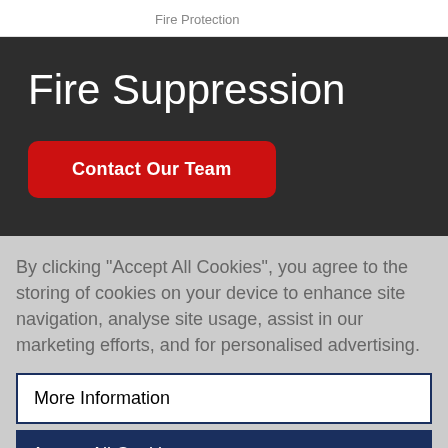Fire Protection
Fire Suppression
Contact Our Team
By clicking "Accept All Cookies", you agree to the storing of cookies on your device to enhance site navigation, analyse site usage, assist in our marketing efforts, and for personalised advertising.
More Information
Accept All Cookies